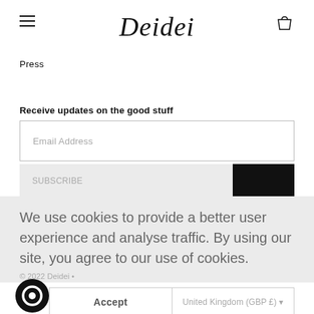Deidei
Press
Receive updates on the good stuff
Email Address
We use cookies to provide a better user experience and analyse traffic. By using our site, you agree to our use of cookies.
© 2022 Deidei •
Accept
United Kingdom (GBP £)